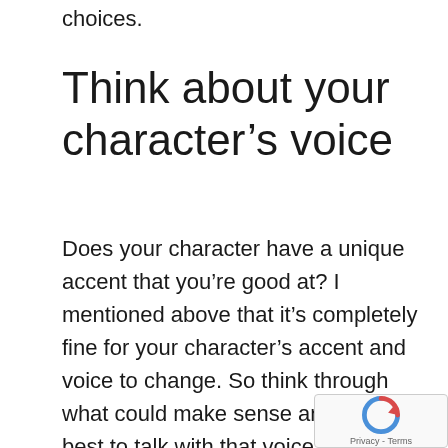choices.
Think about your character’s voice
Does your character have a unique accent that you’re good at? I mentioned above that it’s completely fine for your character’s accent and voice to change. So think through what could make sense and do your best to talk with that voice. Even a slight change to your normal accent will go a long way in making your character feel different than you, a…